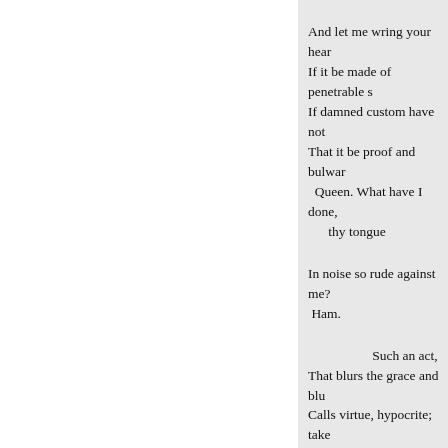And let me wring your hear
If it be made of penetrable s
If damned custom have not
That it be proof and bulwar
  Queen. What have I done,
      thy tongue
In noise so rude against me?
 Ham.
Such an act,
That blurs the grace and blu
Calls virtue, hypocrite; take
From the fair forehead of ar
And sets a blister there; mal
As false as dicers' oaths: O,
As from the body of contrac
The very soul; and sweet re
A rhapsody of words: Heave
Yea, this solidity and compo
With tristful2-visage, as aga
Is thought-sick at the act.